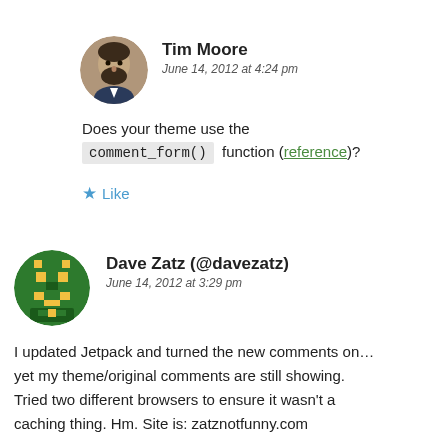[Figure (photo): Circular avatar photo of Tim Moore, a man with a beard]
Tim Moore
June 14, 2012 at 4:24 pm
Does your theme use the comment_form() function (reference)?
★ Like
[Figure (logo): Circular green avatar with a pixelated face/icon for Dave Zatz]
Dave Zatz (@davezatz)
June 14, 2012 at 3:29 pm
I updated Jetpack and turned the new comments on… yet my theme/original comments are still showing. Tried two different browsers to ensure it wasn't a caching thing. Hm. Site is: zatznotfunny.com